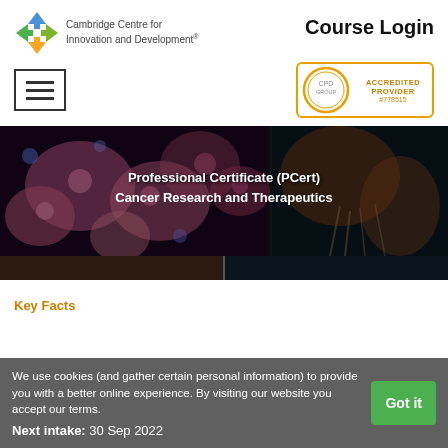[Figure (logo): Cambridge Centre for Innovation and Development logo with colorful arrow/diamond icon]
Cambridge Centre for Innovation and Development®
Course Login
[Figure (illustration): Hamburger menu icon (three horizontal lines in a square border)]
[Figure (logo): CPD Group Accredited Provider badge #778515 with orange circular logo]
[Figure (photo): Banner image showing microscopic cancer cells imagery with text overlay]
Professional Certificate (PCert) Cancer Research and Therapeutics
Key Facts
We use cookies (and gather certain personal information) to provide you with a better online experience. By visiting our website you accept our terms.
Next intake: 30 Sep 2022
Got it